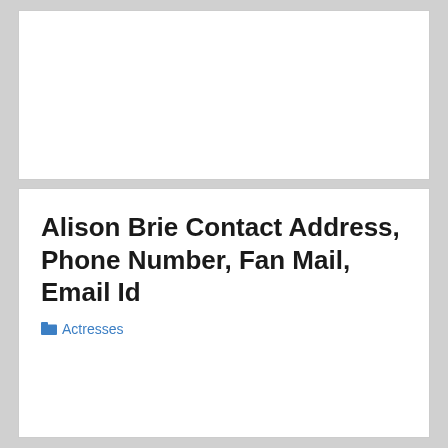Alison Brie Contact Address, Phone Number, Fan Mail, Email Id
📁 Actresses